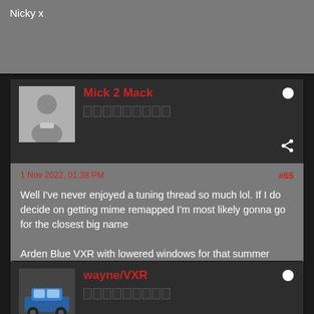Nicky x
Mick 2 Mack
1 Nov 2022, 01:38 PM
#65
Well I've never enjoyed a tuning thread so much lol. If I do decide on getting mime remapped I'm most likely gonna go for the closest big name

Arden Blue VXR with lowered windows for that summer breeze 😁 And a few mods
wayne/VXR